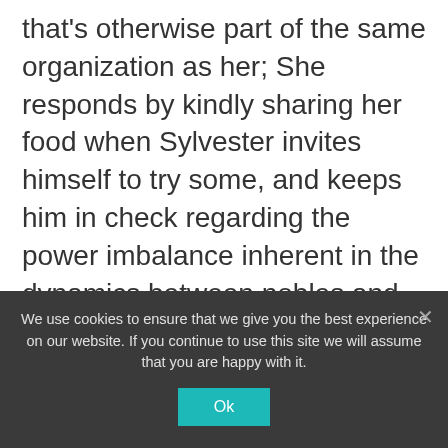that's otherwise part of the same organization as her; She responds by kindly sharing her food when Sylvester invites himself to try some, and keeps him in check regarding the power imbalance inherent in the dynamics between nobles and merchants. She even sells him on becoming a patron of the restaurant the chef will be opening up in place of specifically hiring the guy. We already know that Main, like so many other adorable tiny creatures, can be a master of psychological manipulation when she wants to, and this is another example of
We use cookies to ensure that we give you the best experience on our website. If you continue to use this site we will assume that you are happy with it.
Ok